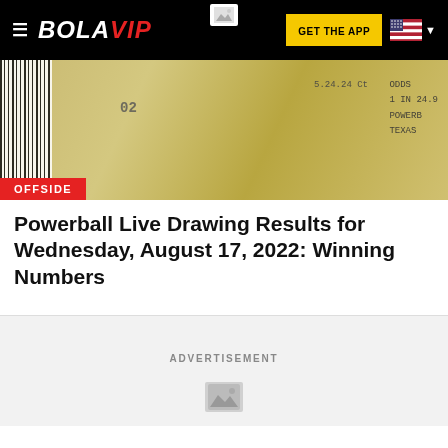BOLAVIP
[Figure (photo): Powerball lottery ticket close-up with barcode and ticket numbers visible, yellow background]
Powerball Live Drawing Results for Wednesday, August 17, 2022: Winning Numbers
ADVERTISEMENT
[Figure (photo): Advertisement placeholder image]